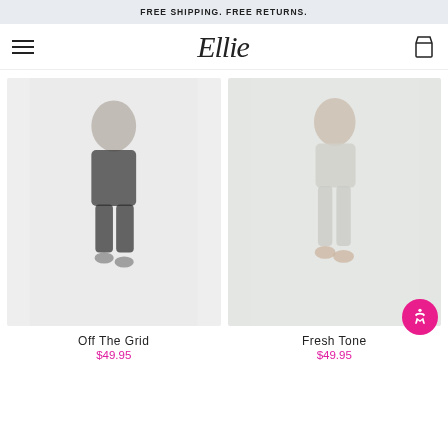FREE SHIPPING. FREE RETURNS.
Ellie
[Figure (photo): Person wearing dark sports bra and dark athletic shorts, standing pose]
[Figure (photo): Person wearing light gray/white sports bra and athletic pants, back view]
Off The Grid
$49.95
Fresh Tone
$49.95